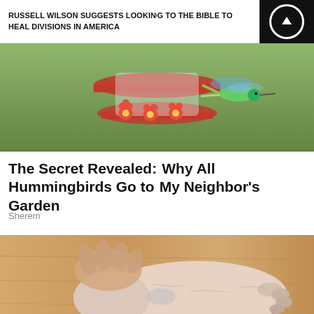RUSSELL WILSON SUGGESTS LOOKING TO THE BIBLE TO HEAL DIVISIONS IN AMERICA
[Figure (photo): Photo of hummingbird feeder with red flowers and a hummingbird approaching from the right, green background]
The Secret Revealed: Why All Hummingbirds Go to My Neighbor's Garden
Sherem
[Figure (photo): Close-up photo of elderly person's bare feet and ankle on a wooden floor, with one hand gripping the ankle]